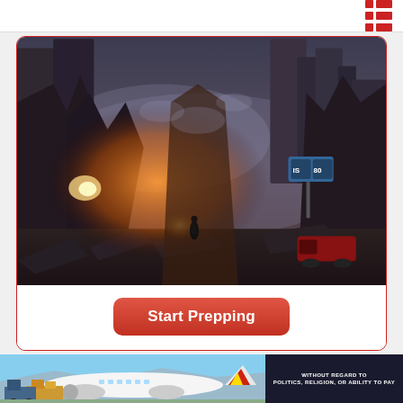[Figure (illustration): Hamburger/grid menu icon in dark red in the top right corner of a navigation bar]
[Figure (illustration): Dystopian post-apocalyptic cityscape with collapsed skyscrapers, rubble, fire glow, and a lone figure standing in the middle distance on a dark street]
Start Prepping
[Figure (photo): Bottom ad banner showing an airplane being loaded with cargo on the left, and a dark panel on the right with white text reading WITHOUT REGARD TO POLITICS, RELIGION, OR ABILITY TO PAY]